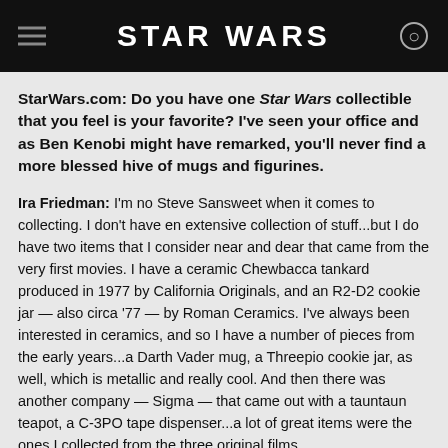STAR WARS
StarWars.com: Do you have one Star Wars collectible that you feel is your favorite? I've seen your office and as Ben Kenobi might have remarked, you'll never find a more blessed hive of mugs and figurines.
Ira Friedman: I'm no Steve Sansweet when it comes to collecting. I don't have en extensive collection of stuff...but I do have two items that I consider near and dear that came from the very first movies. I have a ceramic Chewbacca tankard produced in 1977 by California Originals, and an R2-D2 cookie jar — also circa '77 — by Roman Ceramics. I've always been interested in ceramics, and so I have a number of pieces from the early years...a Darth Vader mug, a Threepio cookie jar, as well, which is metallic and really cool. And then there was another company — Sigma — that came out with a tauntaun teapot, a C-3PO tape dispenser...a lot of great items were the ones I collected from the three original films.